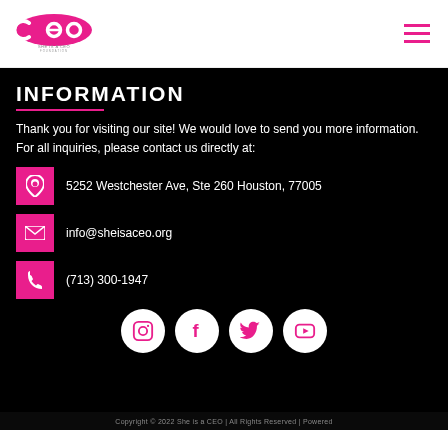[Figure (logo): She Is A CEO Foundation logo with pink circular CEO text design]
INFORMATION
Thank you for visiting our site! We would love to send you more information. For all inquiries, please contact us directly at:
5252 Westchester Ave, Ste 260 Houston, 77005
info@sheisaceo.org
(713) 300-1947
[Figure (infographic): Social media icons: Instagram, Facebook, Twitter, YouTube in white circles]
Copyright © 2022 She is a CEO | All Rights Reserved | Powered